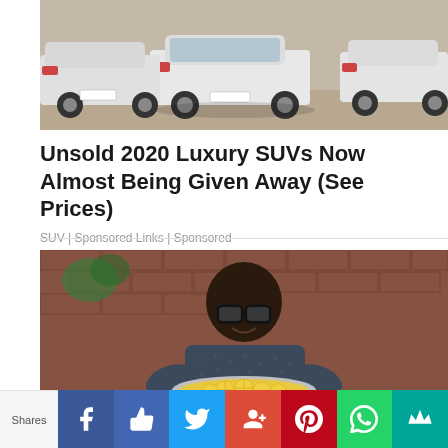[Figure (photo): Row of white luxury SUVs/cars parked in a lot, viewed from rear-angle.]
Unsold 2020 Luxury SUVs Now Almost Being Given Away (See Prices)
SUV | Sponsored Links | Sponsored
[Figure (photo): Man with glasses holding a pot of lemon slices, seated at a kitchen counter with brick wall behind.]
Shares [Facebook] [Like] [Twitter] [Google+] [Pinterest] [WhatsApp] [Save]